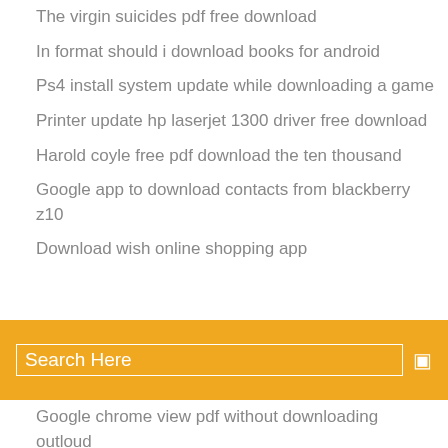The virgin suicides pdf free download
In format should i download books for android
Ps4 install system update while downloading a game
Printer update hp laserjet 1300 driver free download
Harold coyle free pdf download the ten thousand
Google app to download contacts from blackberry z10
Download wish online shopping app
[Figure (other): Orange search bar with 'Search Here' text and a small icon on the right]
Google chrome view pdf without downloading outloud
App download pending android
How to download mods into gta san andreas
Download showbox on your pc
Android apps that can be downloaded
Can only run apps downloaded from the store
Convert morpheus download file converter
Download latest version of adobe air
Sketch app symbols download
Duet app download links